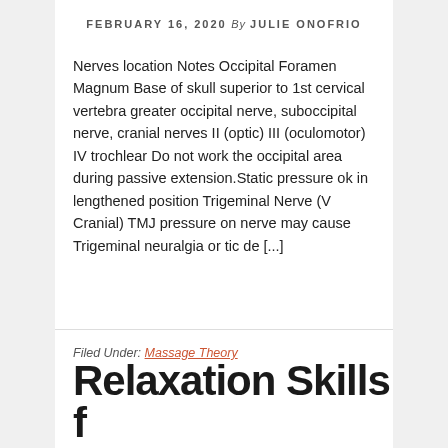FEBRUARY 16, 2020 By JULIE ONOFRIO
Nerves location Notes Occipital Foramen Magnum Base of skull superior to 1st cervical vertebra greater occipital nerve, suboccipital nerve, cranial nerves II (optic) III (oculomotor) IV trochlear Do not work the occipital area during passive extension.Static pressure ok in lengthened position Trigeminal Nerve (V Cranial) TMJ pressure on nerve may cause Trigeminal neuralgia or tic de [...]
Filed Under: Massage Theory
Relaxation Skills f…